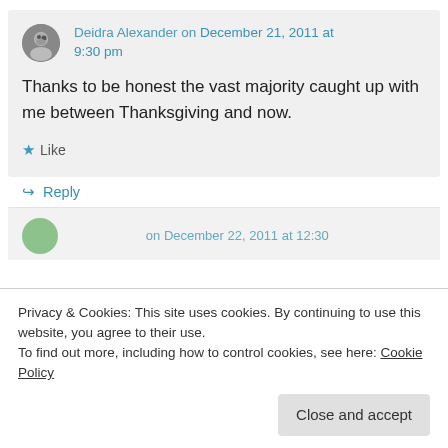Deidra Alexander on December 21, 2011 at 9:30 pm
Thanks to be honest the vast majority caught up with me between Thanksgiving and now.
★ Like
↪ Reply
Privacy & Cookies: This site uses cookies. By continuing to use this website, you agree to their use. To find out more, including how to control cookies, see here: Cookie Policy
Close and accept